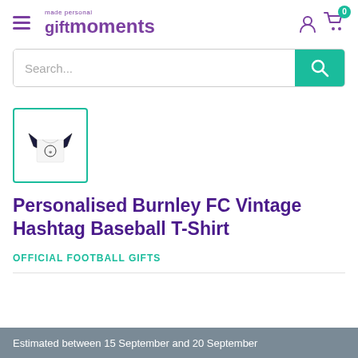[Figure (logo): Gift Moments 'made personal' logo in purple with hamburger menu icon on left, user and cart icons on right with green badge showing 0]
[Figure (screenshot): Search bar with placeholder 'Search...' and green search button with magnifying glass icon]
[Figure (photo): Thumbnail of a white baseball t-shirt with dark navy raglan sleeves, shown in a teal-bordered square]
Personalised Burnley FC Vintage Hashtag Baseball T-Shirt
OFFICIAL FOOTBALL GIFTS
Estimated between 15 September and 20 September